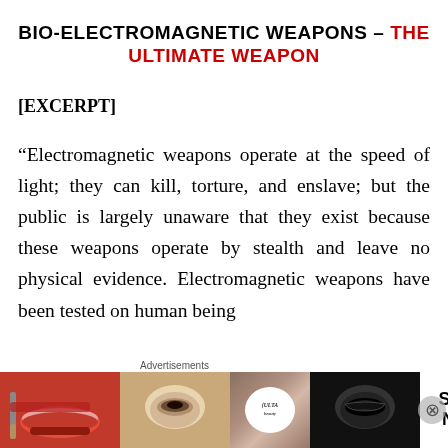BIO-ELECTROMAGNETIC WEAPONS – THE ULTIMATE WEAPON
[EXCERPT]
“Electromagnetic weapons operate at the speed of light; they can kill, torture, and enslave; but the public is largely unaware that they exist because these weapons operate by stealth and leave no physical evidence. Electromagnetic weapons have been tested on human being
[Figure (other): Advertisement banner for ULTA Beauty featuring beauty/makeup imagery with text SHOP NOW]